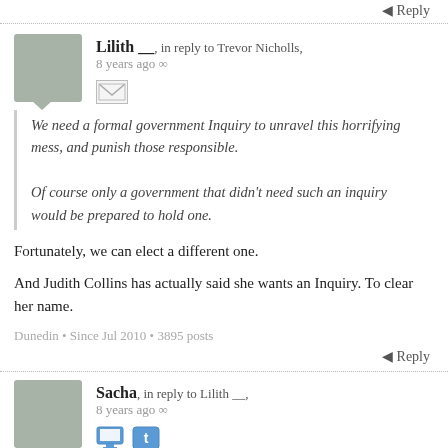◄ Reply
Lilith __, in reply to Trevor Nicholls, 8 years ago ∞
We need a formal government Inquiry to unravel this horrifying mess, and punish those responsible.

Of course only a government that didn't need such an inquiry would be prepared to hold one.
Fortunately, we can elect a different one.
And Judith Collins has actually said she wants an Inquiry. To clear her name.
Dunedin • Since Jul 2010 • 3895 posts
◄ Reply
Sacha, in reply to Lilith __, 8 years ago ∞
She wants a narrow, tame inquiry like the one McCully set up into the Malaysian diplomat. The